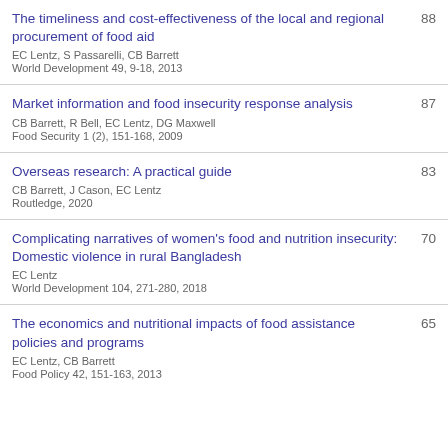The timeliness and cost-effectiveness of the local and regional procurement of food aid | EC Lentz, S Passarelli, CB Barrett | World Development 49, 9-18, 2013 | 88
Market information and food insecurity response analysis | CB Barrett, R Bell, EC Lentz, DG Maxwell | Food Security 1 (2), 151-168, 2009 | 87
Overseas research: A practical guide | CB Barrett, J Cason, EC Lentz | Routledge, 2020 | 83
Complicating narratives of women's food and nutrition insecurity: Domestic violence in rural Bangladesh | EC Lentz | World Development 104, 271-280, 2018 | 70
The economics and nutritional impacts of food assistance policies and programs | EC Lentz, CB Barrett | Food Policy 42, 151-163, 2013 | 65